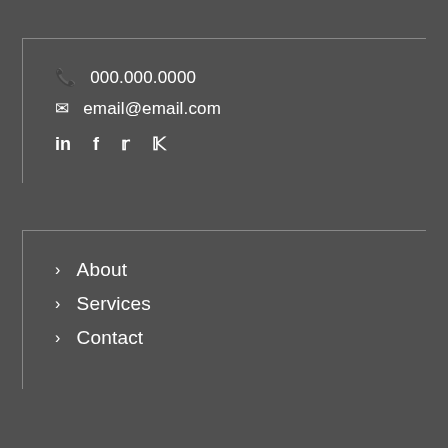📞 000.000.0000
✉ email@email.com
in  f  𝕏  ℗
› About
› Services
› Contact